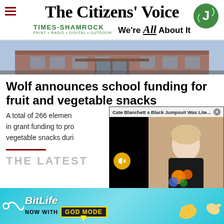The Citizens' Voice — Times-Shamrock PRINT • RADIO • DIGITAL • OUTDOOR — We're All About It
[Figure (photo): Exterior photo of a brick school or government building with entrance doors]
Wolf announces school funding for fruit and vegetable snacks
A total of 266 elemen... in grant funding to pro... vegetable snacks duri...
[Figure (screenshot): Pop-up video overlay: 'Cate Blanchett s Black Jumpsuit Was Lite...' with a photo of Cate Blanchett holding flowers, mute button visible]
THE LATEST
[Figure (infographic): BitLife advertisement banner: 'NOW WITH GOD MODE' on a teal gradient background with hand/thumb graphics]